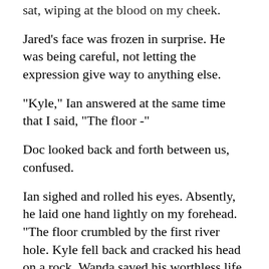sat, wiping at the blood on my cheek.
Jared's face was frozen in surprise. He was being careful, not letting the expression give way to anything else.
"Kyle," Ian answered at the same time that I said, "The floor -"
Doc looked back and forth between us, confused.
Ian sighed and rolled his eyes. Absently, he laid one hand lightly on my forehead. "The floor crumbled by the first river hole. Kyle fell back and cracked his head on a rock. Wanda saved his worthless life. She says she fell,